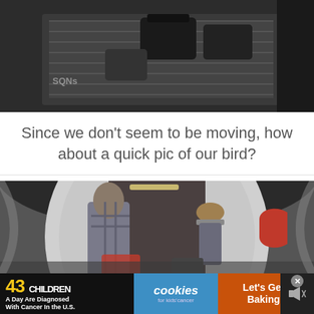[Figure (photo): Airport luggage conveyor belt with suitcases, viewed from above at an angle, dark industrial setting]
Since we don’t seem to be moving, how about a quick pic of our bird?
[Figure (photo): People boarding an airplane through the jet bridge door, fisheye lens perspective showing the interior of the aircraft with luggage, one person in plaid shirt visible and red airline logo on door]
[Figure (other): Advertisement banner: 43 CHILDREN A Day Are Diagnosed With Cancer in the U.S. — cookies for kids’ cancer — Let’s Get Baking]